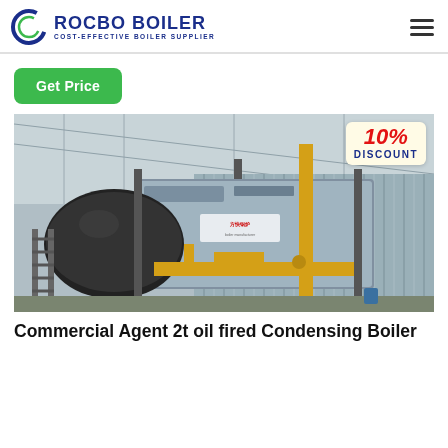ROCBO BOILER COST-EFFECTIVE BOILER SUPPLIER
Get Price
[Figure (photo): Industrial gas-fired steam boiler with yellow piping in a factory warehouse setting, with a 10% DISCOUNT badge overlay in the top right corner.]
Commercial Agent 2t oil fired Condensing Boiler